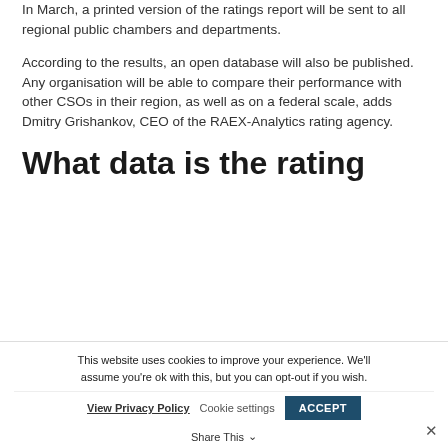In March, a printed version of the ratings report will be sent to all regional public chambers and departments.
According to the results, an open database will also be published. Any organisation will be able to compare their performance with other CSOs in their region, as well as on a federal scale, adds Dmitry Grishankov, CEO of the RAEX-Analytics rating agency.
What data is the rating
This website uses cookies to improve your experience. We'll assume you're ok with this, but you can opt-out if you wish.
View Privacy Policy   Cookie settings   ACCEPT   Share This